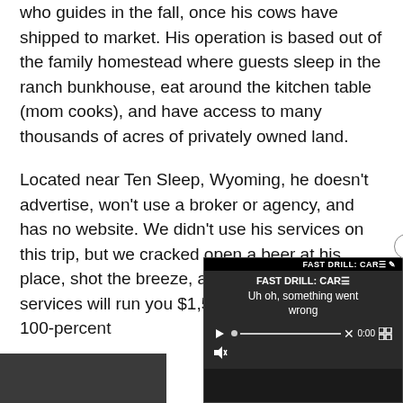who guides in the fall, once his cows have shipped to market. His operation is based out of the family homestead where guests sleep in the ranch bunkhouse, eat around the kitchen table (mom cooks), and have access to many thousands of acres of privately owned land.
Located near Ten Sleep, Wyoming, he doesn't advertise, won't use a broker or agency, and has no website. We didn't use his services on this trip, but we cracked open a beer at his place, shot the breeze, and can vouch tha... services will run you $1,50... chasing elk with a 100-per...
[Figure (screenshot): Video player overlay showing 'FAST DRILL: CAR...' title with error message 'Uh oh, something went wrong', playback controls at bottom showing 0:00 timestamp, with a close (x) button in top-right corner.]